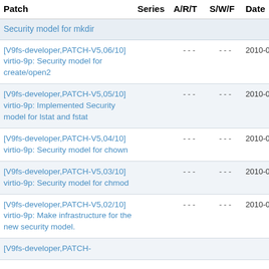| Patch | Series | A/R/T | S/W/F | Date |
| --- | --- | --- | --- | --- |
| Security model for mkdir |  |  |  |  |
| [V9fs-developer,PATCH-V5,06/10] virtio-9p: Security model for create/open2 |  | - - - | - - - | 2010-06-05 |
| [V9fs-developer,PATCH-V5,05/10] virtio-9p: Implemented Security model for lstat and fstat |  | - - - | - - - | 2010-06-05 |
| [V9fs-developer,PATCH-V5,04/10] virtio-9p: Security model for chown |  | - - - | - - - | 2010-06-05 |
| [V9fs-developer,PATCH-V5,03/10] virtio-9p: Security model for chmod |  | - - - | - - - | 2010-06-05 |
| [V9fs-developer,PATCH-V5,02/10] virtio-9p: Make infrastructure for the new security model. |  | - - - | - - - | 2010-06-05 |
| [V9fs-developer,PATCH- |  |  |  |  |